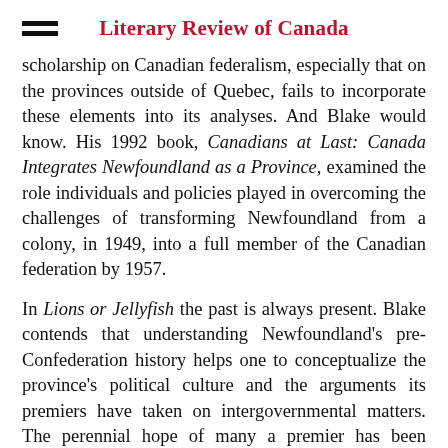Literary Review of Canada
scholarship on Canadian federalism, especially that on the provinces outside of Quebec, fails to incorporate these elements into its analyses. And Blake would know. His 1992 book, Canadians at Last: Canada Integrates Newfoundland as a Province, examined the role individuals and policies played in overcoming the challenges of transforming Newfoundland from a colony, in 1949, into a full member of the Canadian federation by 1957.
In Lions or Jellyfish the past is always present. Blake contends that understanding Newfoundland's pre-Confederation history helps one to conceptualize the province's political culture and the arguments its premiers have taken on intergovernmental matters. The perennial hope of many a premier has been ending the "legacy of colonialism and